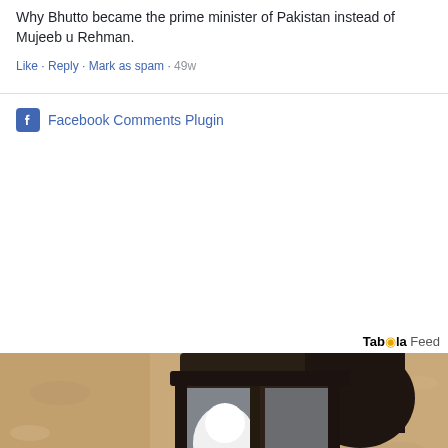Why Bhutto became the prime minister of Pakistan instead of Mujeeb u Rehman.
Like · Reply · Mark as spam · 49w
Facebook Comments Plugin
Taboola Feed
[Figure (photo): Close-up photo of a black outdoor wall lantern mounted on a textured beige/tan stucco wall, with a white light bulb visible inside the glass panels of the lantern fixture.]